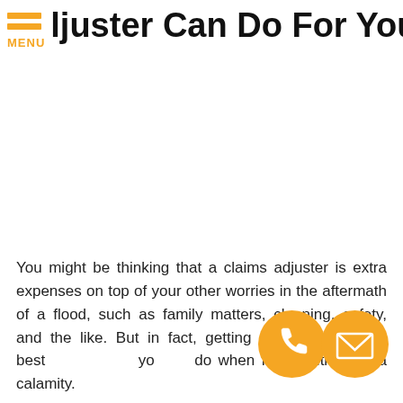ljuster Can Do For You
You might be thinking that a claims adjuster is extra expenses on top of your other worries in the aftermath of a flood, such as family matters, cleaning, safety, and the like. But in fact, getting one might be the best you do when faced with such a calamity.